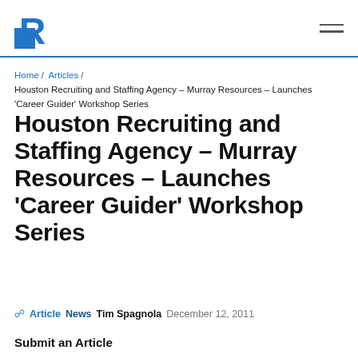R [logo] / menu icon
Home / Articles / Houston Recruiting and Staffing Agency – Murray Resources – Launches 'Career Guider' Workshop Series
Houston Recruiting and Staffing Agency – Murray Resources – Launches 'Career Guider' Workshop Series
Article News  Tim Spagnola  December 12, 2011
Submit an Article